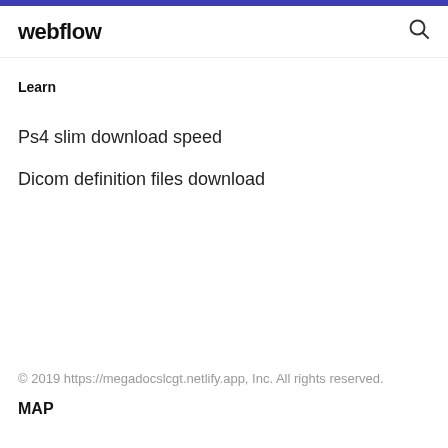webflow
Learn
Ps4 slim download speed
Dicom definition files download
© 2019 https://megadocslcgt.netlify.app, Inc. All rights reserved.
MAP